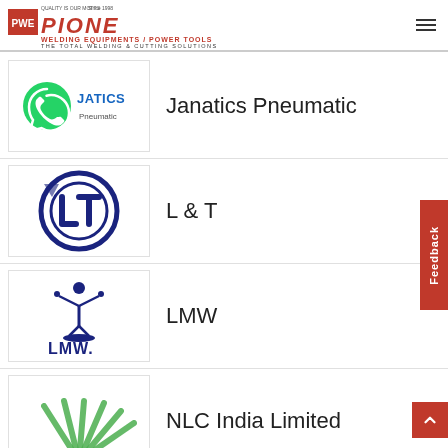PIONEER Welding Equipments / Power Tools — The Total Welding & Cutting Solutions
[Figure (logo): Janatics Pneumatic logo: WhatsApp green icon with JATICS Pneumatic text in blue]
Janatics Pneumatic
[Figure (logo): L&T logo: circular blue emblem with LT letters]
L & T
[Figure (logo): LMW logo: blue figurine and LMW text]
LMW
[Figure (logo): NLC India Limited logo: partial view of circular fan-like emblem]
NLC India Limited